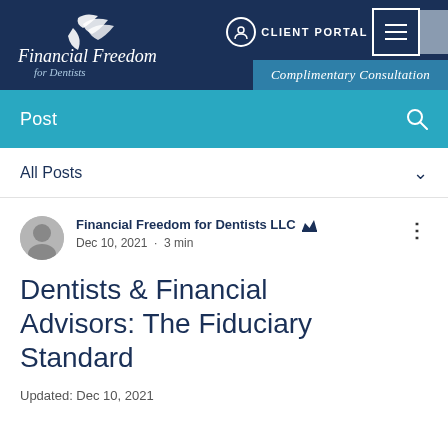[Figure (screenshot): Website navigation bar with Financial Freedom for Dentists logo, CLIENT PORTAL link with user icon, hamburger menu button, and Complimentary Consultation button on a dark navy background]
Post
All Posts
Financial Freedom for Dentists LLC · Dec 10, 2021 · 3 min
Dentists & Financial Advisors: The Fiduciary Standard
Updated: Dec 10, 2021